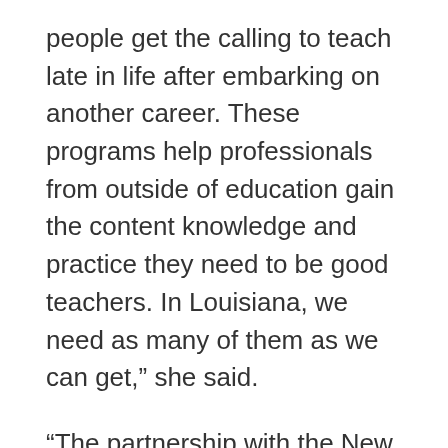people get the calling to teach late in life after embarking on another career. These programs help professionals from outside of education gain the content knowledge and practice they need to be good teachers. In Louisiana, we need as many of them as we can get,” she said.
“The partnership with the New Teacher Project is a good fit for UL System universities,” Clausen said. The eight universities produce the majority of Louisiana’s teachers, prompting the System Board and its universities to make improving teacher preparation a top priority.
Earlier this year, the Board of Supervisors for the